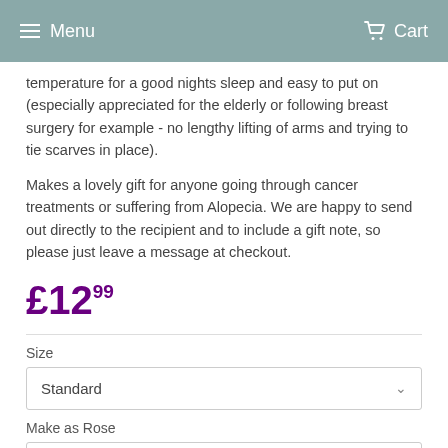Menu  Cart
temperature for a good nights sleep and easy to put on (especially appreciated for the elderly or following breast surgery for example - no lengthy lifting of arms and trying to tie scarves in place).
Makes a lovely gift for anyone going through cancer treatments or suffering from Alopecia. We are happy to send out directly to the recipient and to include a gift note, so please just leave a message at checkout.
£12.99
Size
Standard
Make as Rose
No